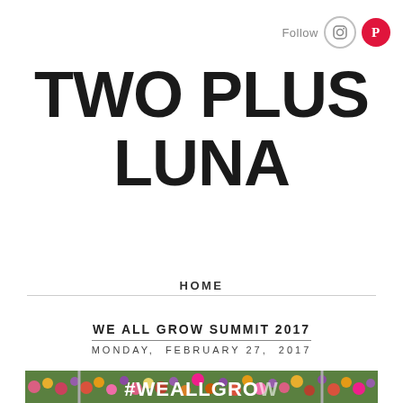Follow
TWO PLUS LUNA
HOME
WE ALL GROW SUMMIT 2017
MONDAY, FEBRUARY 27, 2017
[Figure (photo): A green grass wall covered with colorful flowers (pink, red, yellow, purple), with a white text banner reading #WEALLGRO... (hashtag We All Grow) at the bottom, with metal poles/stands visible at the top.]